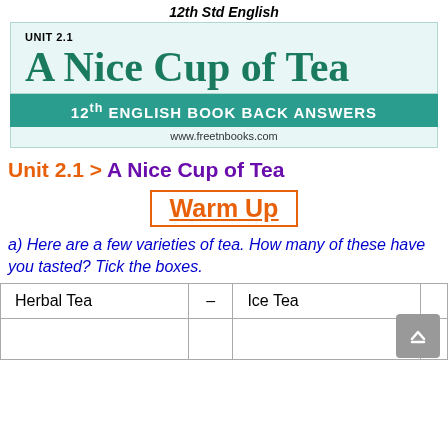12th Std English
UNIT 2.1
A Nice Cup of Tea
12th ENGLISH BOOK BACK ANSWERS
www.freetnbooks.com
Unit 2.1 > A Nice Cup of Tea
Warm Up
a) Here are a few varieties of tea. How many of these have you tasted? Tick the boxes.
|  |  |  |
| --- | --- | --- |
| Herbal Tea | – | Ice Tea |
|  |  |  |